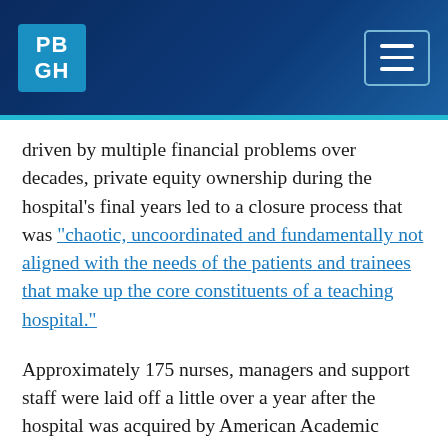PBGH [logo] [hamburger menu]
driven by multiple financial problems over decades, private equity ownership during the hospital's final years led to a closure process that was “chaotic, uncoordinated and fundamentally not aligned with the needs of the patients and trainees that make up the core constituents of a teaching hospital.”
Approximately 175 nurses, managers and support staff were laid off a little over a year after the hospital was acquired by American Academic Health System LLC. Despite a cease and desist order prohibiting any action toward closure, the owners began cutting vital hospital services, including trauma and cardiothoracic surgery. With the closure that soon followed, the community lost a vital safety net facility that had handled more than 50,000 emergency department visits per year in an underserved